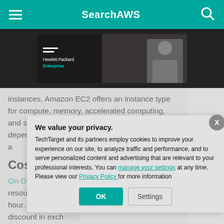SearchAWS
[Figure (screenshot): Hewlett Packard Enterprise promotional video banner showing a person speaking, dark background with HPE logo and two white lines on the left side]
instances, Amazon EC2 offers an instance type for compute, memory, accelerated computing, and storage-optimized instances a user depending on the comes with diffe CPU, memory a
Cost
On-Demand insta resources as ne hour. Reserved i discount in exch commitments --
We value your privacy.
TechTarget and its partners employ cookies to improve your experience on our site, to analyze traffic and performance, and to serve personalized content and advertising that are relevant to your professional interests. You can manage your settings at any time. Please view our Privacy Policy for more information